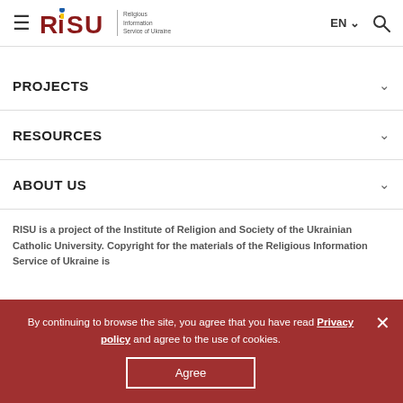RISU — Religious Information Service of Ukraine | EN | Search
PROJECTS
RESOURCES
ABOUT US
RISU is a project of the Institute of Religion and Society of the Ukrainian Catholic University. Copyright for the materials of the Religious Information Service of Ukraine is
By continuing to browse the site, you agree that you have read Privacy policy and agree to the use of cookies.
Agree